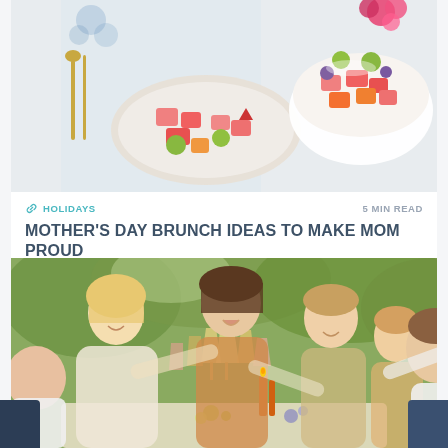[Figure (photo): Top-down photo of fruit salad on plates and in a white bowl on a table with gold cutlery]
HOLIDAYS
5 MIN READ
MOTHER'S DAY BRUNCH IDEAS TO MAKE MOM PROUD
[Figure (photo): Group of smiling women and a man toasting with champagne glasses outdoors in green garden setting]